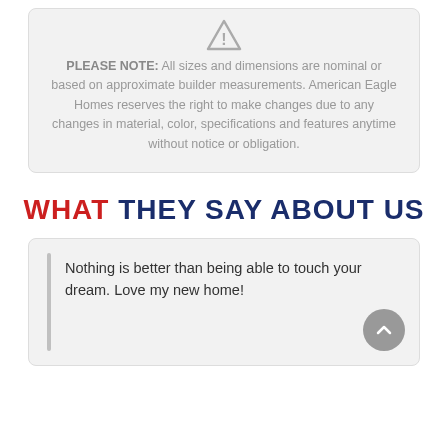PLEASE NOTE: All sizes and dimensions are nominal or based on approximate builder measurements. American Eagle Homes reserves the right to make changes due to any changes in material, color, specifications and features anytime without notice or obligation.
WHAT THEY SAY ABOUT US
Nothing is better than being able to touch your dream. Love my new home!